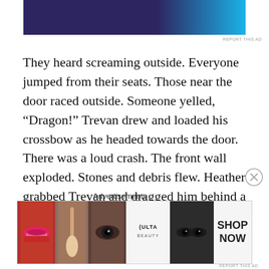[Figure (other): Advertisement banner with dark purple and blue design at the top of the page]
They heard screaming outside. Everyone jumped from their seats. Those near the door raced outside. Someone yelled, “Dragon!” Trevan drew and loaded his crossbow as he headed towards the door. There was a loud crash. The front wall exploded. Stones and debris flew. Heather grabbed Trevan and dragged him behind a table. There was a blinding flash of light. A great billowing fire belched into the room. The heat was tremendous. It was over as quickly as it began. Trevan stood and looked around. Everything was scorched. There was the strong lingering odor of sulfur. Everything in the room that could burn was
Advertisements
[Figure (photo): Ulta Beauty advertisement banner showing makeup imagery including lips, brush, eyes, Ulta logo, and SHOP NOW text]